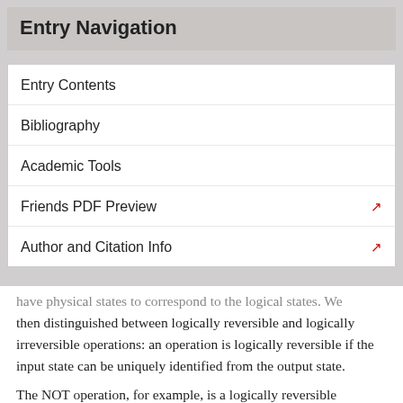Entry Navigation
Entry Contents
Bibliography
Academic Tools
Friends PDF Preview
Author and Citation Info
have physical states to correspond to the logical states. We then distinguished between logically reversible and logically irreversible operations: an operation is logically reversible if the input state can be uniquely identified from the output state.
The NOT operation, for example, is a logically reversible operation. If the output is logical state one, then the input must have been logical state zero, and vice versa. An example of a logically irreversible operation is the AND operation. If the output is logical state zero, then there are three possible combinations of input logical states that